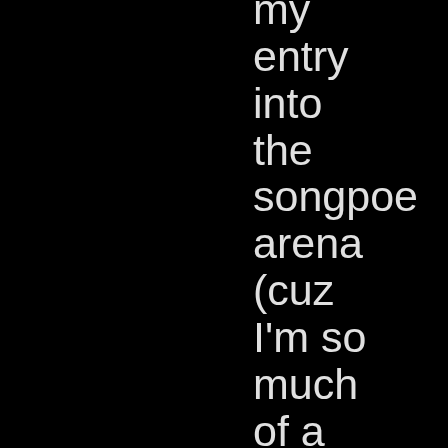my entry into the songpoe arena (cuz I'm so much of a fan I just HAD to get one made!!!). song is entitled "The Tale Of The Great One," a snide, snotty, satirical and for the most